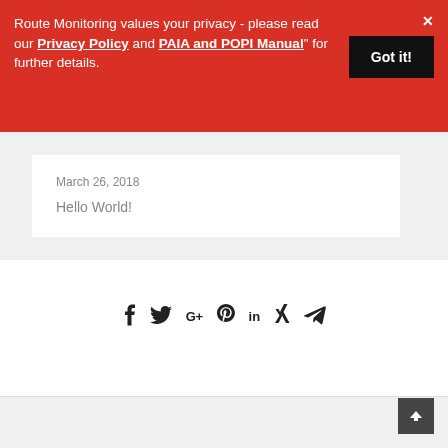Route Monitoring values your privacy - please read our Privacy Policy and PAIA and POPI Manual" for further details.
Got it!
March 26, 2018
Hello World!
[Figure (infographic): Social media share icons: Facebook, Twitter, Google+, Pinterest, LinkedIn, Xing, Telegram]
[Figure (infographic): Scroll-to-top button with upward arrow, dark gray background]